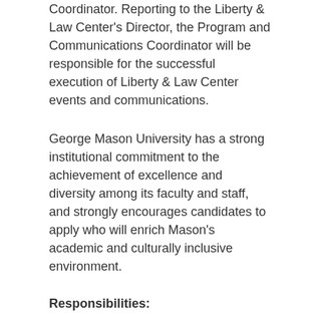Coordinator. Reporting to the Liberty & Law Center's Director, the Program and Communications Coordinator will be responsible for the successful execution of Liberty & Law Center events and communications.
George Mason University has a strong institutional commitment to the achievement of excellence and diversity among its faculty and staff, and strongly encourages candidates to apply who will enrich Mason's academic and culturally inclusive environment.
Responsibilities:
Include, but are not limited to:
Program and Event Development
Assisting with the development of event and program concepts;
Planning the execution and details of programs and events; and
Coordinating with collaborators, speakers, and other